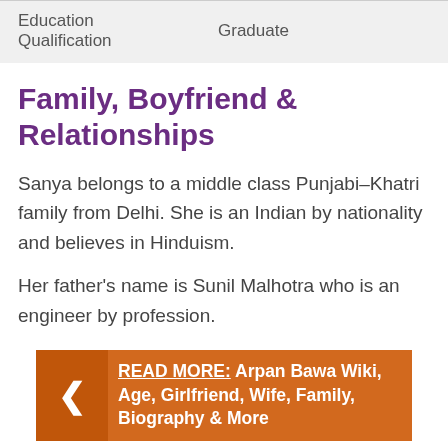| Education Qualification | Graduate |
Family, Boyfriend & Relationships
Sanya belongs to a middle class Punjabi–Khatri family from Delhi. She is an Indian by nationality and believes in Hinduism.
Her father's name is Sunil Malhotra who is an engineer by profession.
READ MORE: Arpan Bawa Wiki, Age, Girlfriend, Wife, Family, Biography & More
Her mother's name is Renu Malhotra who is a